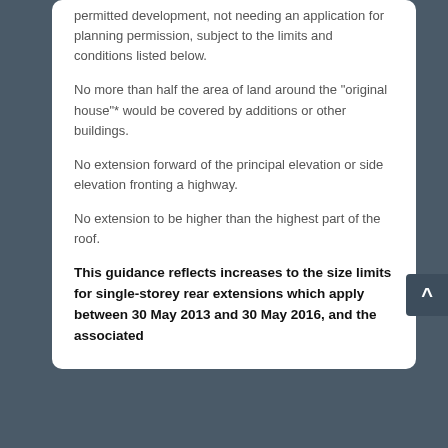permitted development, not needing an application for planning permission, subject to the limits and conditions listed below.
No more than half the area of land around the "original house"* would be covered by additions or other buildings.
No extension forward of the principal elevation or side elevation fronting a highway.
No extension to be higher than the highest part of the roof.
This guidance reflects increases to the size limits for single-storey rear extensions which apply between 30 May 2013 and 30 May 2016, and the associated